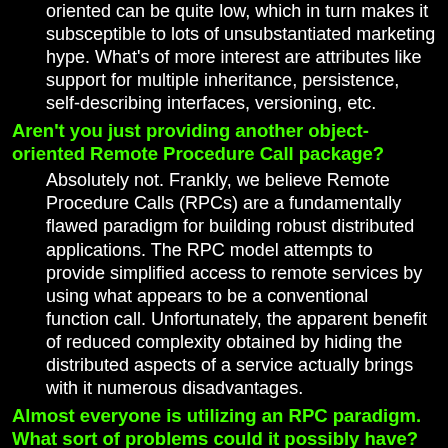oriented can be quite low, which in turn makes it subsceptible to lots of unsubstantiated marketing hype. What's of more interest are attributes like support for multiple inheritance, persistence, self-describing interfaces, versioning, etc.
Aren't you just providing another object-oriented Remote Procedure Call package?
Absolutely not. Frankly, we believe Remote Procedure Calls (RPCs) are a fundamentally flawed paradigm for building robust distributed applications. The RPC model attempts to provide simplified access to remote services by using what appears to be a conventional function call. Unfortunately, the apparent benefit of reduced complexity obtained by hiding the distributed aspects of a service actually brings with it numerous disadvantages.
Almost everyone is utilizing an RPC paradigm. What sort of problems could it possibly have?
Obviously, every program gets reduced to machine instructions, so with enough added effort, some problems can be overcome. We assert that an important consideration should be how much effort a programmer must expend to achieve a given goal. Some of the problems include:
No recovery if the remote server fails — since the